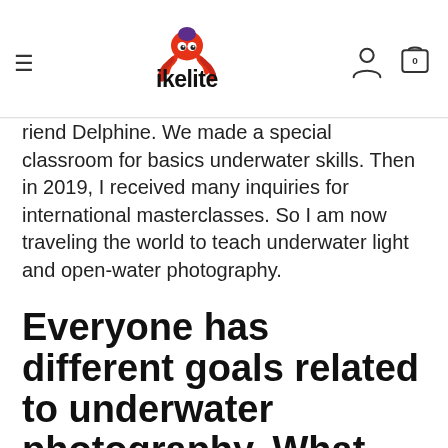ikelite (navigation header with logo, hamburger menu, user icon, and cart icon showing 0)
friend Delphine. We made a special classroom for basics underwater skills. Then in 2019, I received many inquiries for international masterclasses. So I am now traveling the world to teach underwater light and open-water photography.
Everyone has different goals related to underwater photography. What brings people to